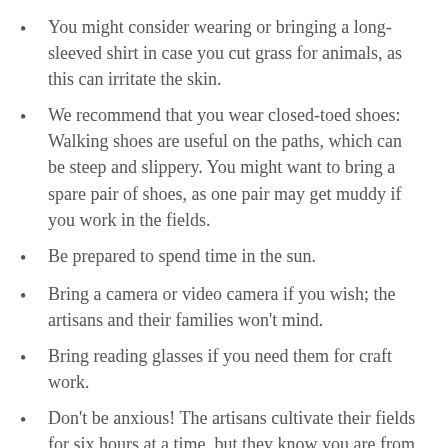You might consider wearing or bringing a long-sleeved shirt in case you cut grass for animals, as this can irritate the skin.
We recommend that you wear closed-toed shoes: Walking shoes are useful on the paths, which can be steep and slippery. You might want to bring a spare pair of shoes, as one pair may get muddy if you work in the fields.
Be prepared to spend time in the sun.
Bring a camera or video camera if you wish; the artisans and their families won’t mind.
Bring reading glasses if you need them for craft work.
Don’t be anxious! The artisans cultivate their fields for six hours at a time, but they know you are from a different culture and are unlikely to be able